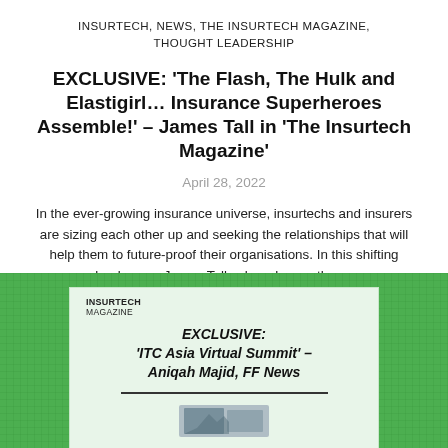INSURTECH, NEWS, THE INSURTECH MAGAZINE, THOUGHT LEADERSHIP
EXCLUSIVE: ‘The Flash, The Hulk and Elastigirl… Insurance Superheroes Assemble!’ – James Tall in ‘The Insurtech Magazine’
April 28, 2022
In the ever-growing insurance universe, insurtechs and insurers are sizing each other up and seeking the relationships that will help them to future-proof their organisations. In this shifting landscape, James Tall asks: who are the …
[Figure (photo): Green textured background with a magazine card overlay showing INSURTECH MAGAZINE logo and text: EXCLUSIVE: ‘ITC Asia Virtual Summit’ – Aniqah Majid, FF News, with a horizontal divider and a partial magazine cover image below.]